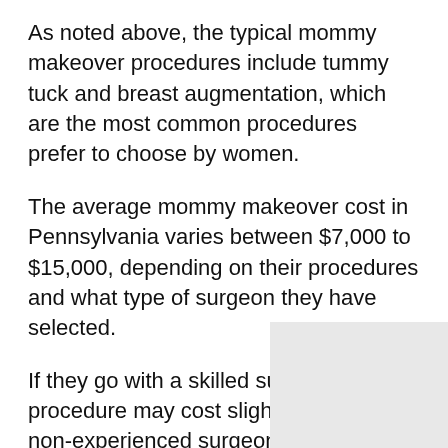As noted above, the typical mommy makeover procedures include tummy tuck and breast augmentation, which are the most common procedures prefer to choose by women.
The average mommy makeover cost in Pennsylvania varies between $7,000 to $15,000, depending on their procedures and what type of surgeon they have selected.
If they go with a skilled surgeon, the procedure may cost slightly more than a non-experienced surgeon.
The Bottom Line
Mommy Makeover Cost in Pennsylvania is a